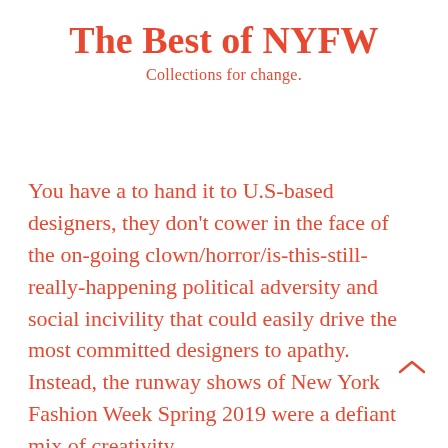The Best of NYFW
Collections for change.
You have a to hand it to U.S-based designers, they don't cower in the face of the on-going clown/horror/is-this-still-really-happening political adversity and social incivility that could easily drive the most committed designers to apathy. Instead, the runway shows of New York Fashion Week Spring 2019 were a defiant mix of creativity,